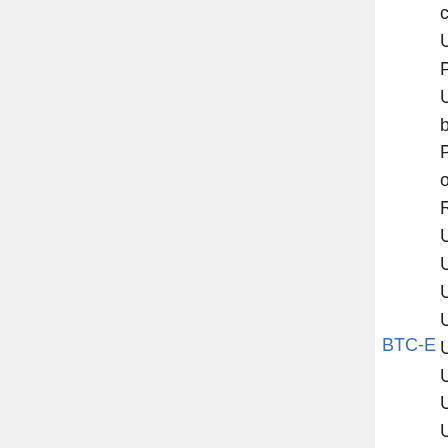code)
USD (Cash deposit Post of Russia)
USD (Cash deposit banks including Privatbank, Savings of Russia (Sberbank), RU/UA Terminals,
USD (Interkassa)
USD (WebMoney)
USD (Yandex)
USD (LiqPay)
USD (Perfect Money)
USD (QIWI)
USD (OKPay)
USD (RBK Money)
USD (Ditial currency including НСМЭП (NSMEP), Едины Кошелек (Unified
BTC-E